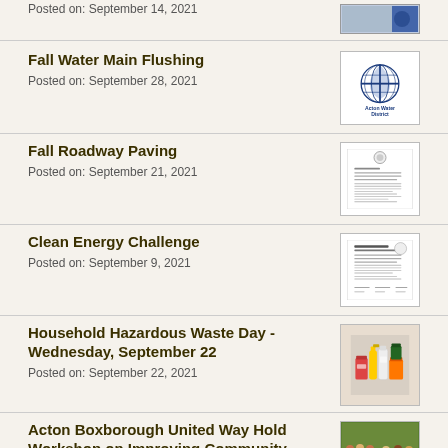Posted on: September 14, 2021
[Figure (photo): Thumbnail image for news article posted September 14, 2021]
Fall Water Main Flushing
Posted on: September 28, 2021
[Figure (logo): Acton Water District logo — circular globe with cross, text 'Acton Water District']
Fall Roadway Paving
Posted on: September 21, 2021
[Figure (screenshot): Thumbnail of a government document with text and official seal]
Clean Energy Challenge
Posted on: September 9, 2021
[Figure (screenshot): Thumbnail of Clean Energy Challenge document with text and signatures]
Household Hazardous Waste Day - Wednesday, September 22
Posted on: September 22, 2021
[Figure (photo): Photo of household hazardous waste containers — paint cans, spray bottles, buckets]
Acton Boxborough United Way Hold Workshop on Improving Community Relationships
[Figure (photo): Photo of people seated at tables in a workshop setting]